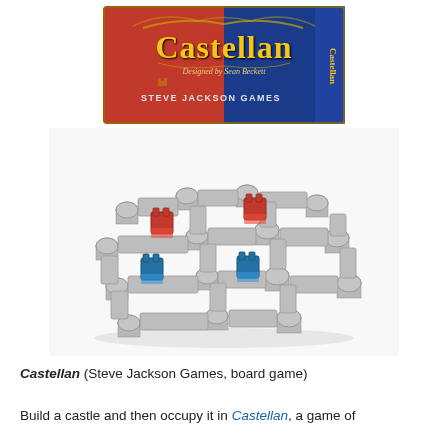[Figure (photo): Photo of Castellan board game box by Steve Jackson Games, showing red and blue colored box with ornate gold 'Castellan' lettering on a split red and blue background.]
[Figure (photo): Photo of Castellan game components: gray interlocking castle wall and tower pieces arranged in a grid, with red and blue keep/tower miniatures placed inside the enclosed courtyards.]
Castellan (Steve Jackson Games, board game)

Build a castle and then occupy it in Castellan, a game of